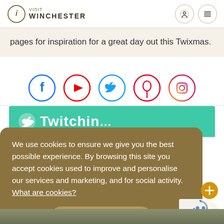Visit Winchester
pages for inspiration for a great day out this Twixmas.
[Figure (infographic): Row of five social media icons: Facebook (blue circle), YouTube (red circle), Twitter (blue circle), Pinterest (red circle), Instagram (gradient red-purple circle)]
[Figure (screenshot): Green banner with partial text: [Twitter bird icon] Twitchin...]
We use cookies to ensure we give you the best possible experience. By browsing this site you accept cookies used to improve and personalise our services and marketing, and for social activity.  What are cookies?
I'm OK with this